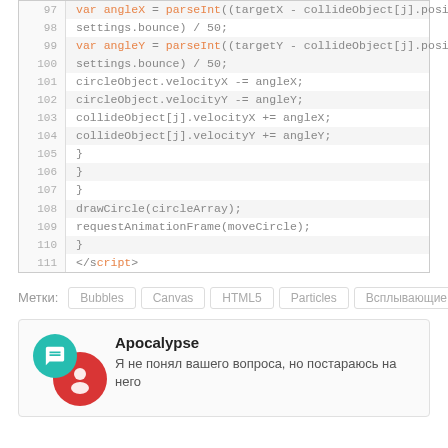[Figure (screenshot): Code editor screenshot showing JavaScript lines 97–111 with syntax highlighting. Orange keywords include 'var', 'parseInt', red asterisk. Code shows angle calculations and animation frame request. Lines 97–100 highlighted in light gray.]
Метки: Bubbles Canvas HTML5 Particles Всплывающие Пузыри
Apocalypse
Я не понял вашего вопроса, но постараюсь на него